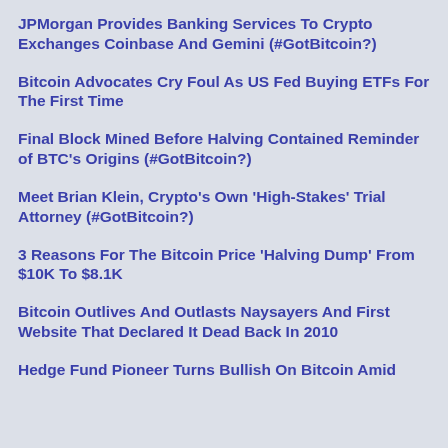JPMorgan Provides Banking Services To Crypto Exchanges Coinbase And Gemini (#GotBitcoin?)
Bitcoin Advocates Cry Foul As US Fed Buying ETFs For The First Time
Final Block Mined Before Halving Contained Reminder of BTC's Origins (#GotBitcoin?)
Meet Brian Klein, Crypto's Own 'High-Stakes' Trial Attorney (#GotBitcoin?)
3 Reasons For The Bitcoin Price 'Halving Dump' From $10K To $8.1K
Bitcoin Outlives And Outlasts Naysayers And First Website That Declared It Dead Back In 2010
Hedge Fund Pioneer Turns Bullish On Bitcoin Amid